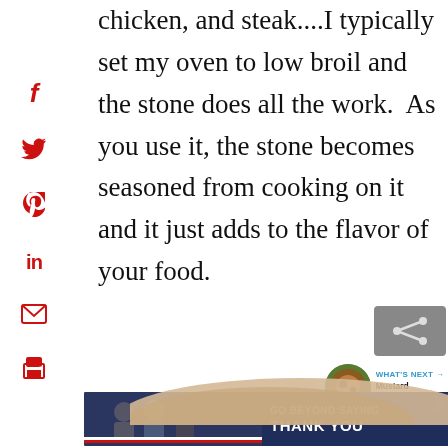chicken, and steak....I typically set my oven to low broil and the stone does all the work.  As you use it, the stone becomes seasoned from cooking on it and it just adds to the flavor of your food.
[Figure (other): Social media sharing icons (Facebook, Twitter, Pinterest, LinkedIn, Email, Print) arranged vertically on the left side in red]
[Figure (other): Share button icon (grey background with share symbol) and What's Next panel showing a food photo and text 'WHAT'S NEXT → Mustard Rubbed...']
[Figure (other): A beige/tan cooking stone shape partially visible at the bottom of the page]
[Figure (other): Advertisement banner: 'GO BEYOND SAYING THANK YOU' with Operation Gratitude logo and JOIN US button]